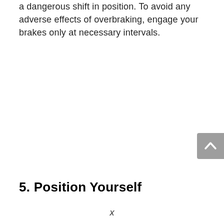a dangerous shift in position. To avoid any adverse effects of overbraking, engage your brakes only at necessary intervals.
5. Position Yourself